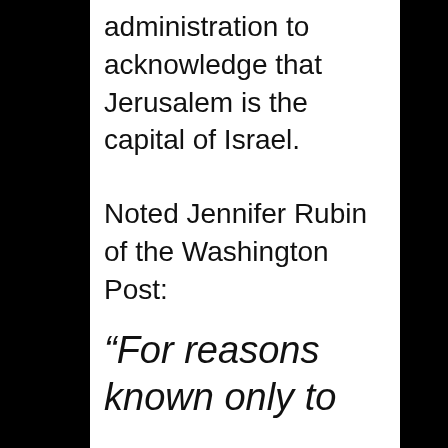administration to acknowledge that Jerusalem is the capital of Israel.
Noted Jennifer Rubin of the Washington Post:
“For reasons known only to the O…